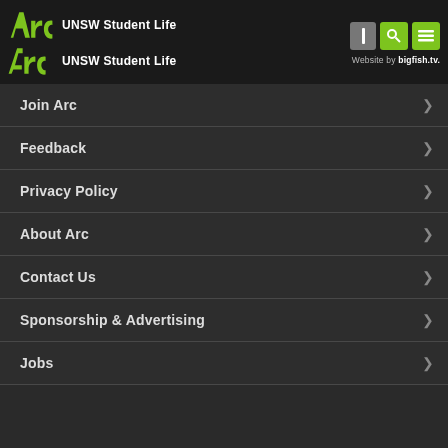[Figure (logo): Arc UNSW Student Life logo - green stylized arc text with UNSW Student Life text, shown twice (header versions)]
Website by bigfish.tv.
Join Arc
Feedback
Privacy Policy
About Arc
Contact Us
Sponsorship & Advertising
Jobs